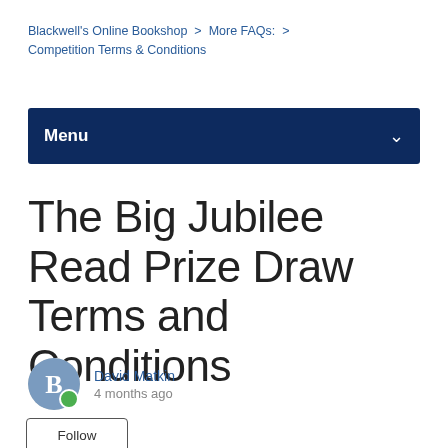Blackwell's Online Bookshop  >  More FAQs:  >  Competition Terms & Conditions
Menu
The Big Jubilee Read Prize Draw Terms and Conditions
David Matkin
4 months ago
Follow